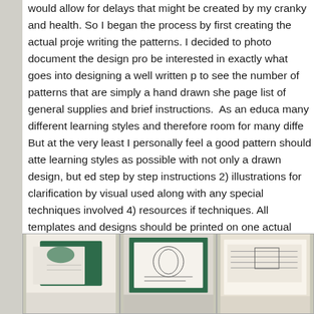would allow for delays that might be created by my cranky and health. So I began the process by first creating the actual project writing the patterns. I decided to photo document the design pro be interested in exactly what goes into designing a well written p to see the number of patterns that are simply a hand drawn she page list of general supplies and brief instructions. As an educa many different learning styles and therefore room for many diffe But at the very least I personally feel a good pattern should atte learning styles as possible with not only a drawn design, but ed step by step instructions 2) illustrations for clarification by visual used along with any special techniques involved 4) resources if techniques. All templates and designs should be printed on one actual size. Below you will find some photos of my pattern desig the making of the photo models!) From rough sketches, to bette threads and amounts of fabric used, to actual tracings for a mas rendering of textures, pages/tiling, and instructions, to template project, I often allow 3-4 weeks for the written process.  Please release the names/photos of these projects until they are sched Winter 2020 issues of the Wool Works magazine
[Figure (photo): Three photos showing pattern design process materials including fabric, drawings, and templates]